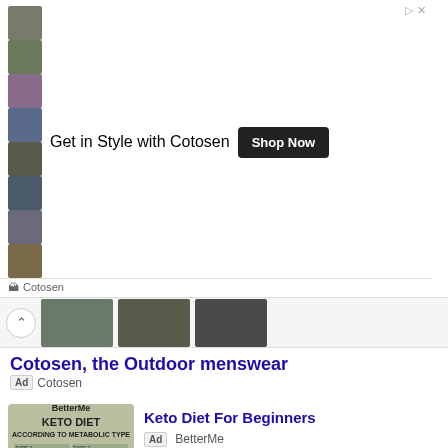[Figure (screenshot): Cotosen ad banner with clothing grid images and Shop Now button]
Cotosen
[Figure (screenshot): Scrollable row with arrow and clothing thumbnail images]
Cotosen, the Outdoor menswear
Ad  Cotosen
[Figure (screenshot): Keto Diet infographic ad thumbnail]
Keto Diet For Beginners
Ad  BetterMe
[Figure (screenshot): Kynix Semiconductor ad with IC chip image]
Kynix Semiconductor
Ad  Kynix
[Figure (screenshot): CMC Magnetics ad thumbnail]
CMC Magnetics